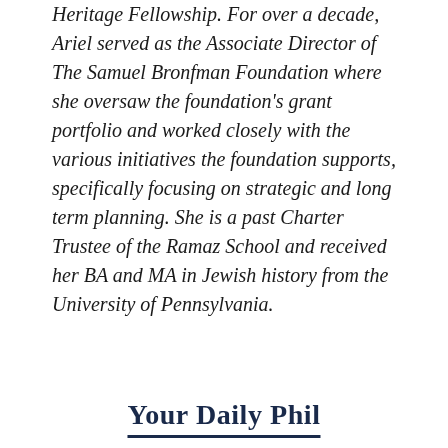Heritage Fellowship. For over a decade, Ariel served as the Associate Director of The Samuel Bronfman Foundation where she oversaw the foundation's grant portfolio and worked closely with the various initiatives the foundation supports, specifically focusing on strategic and long term planning. She is a past Charter Trustee of the Ramaz School and received her BA and MA in Jewish history from the University of Pennsylvania.
Your Daily Phil